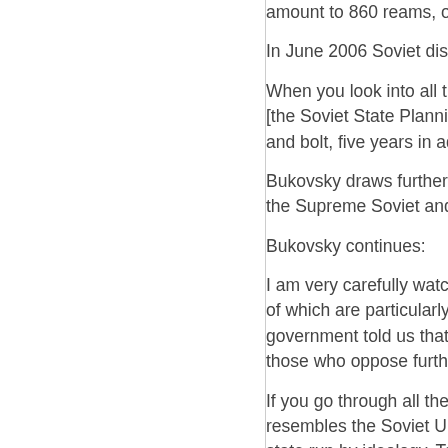amount to 860 reams, or 430,000
In June 2006 Soviet dissident Vla
When you look into all this bizarre [the Soviet State Planning Commi and bolt, five years in advance.
Bukovsky draws further parallels b the Supreme Soviet and the Euro
Bukovsky continues:
I am very carefully watching such of which are particularly worrying. government told us that those who those who oppose further Europe
If you go through all the structures resembles the Soviet Union. [...] M state run by ideology. Today's ide political correctness. I watch very
What Bukovsky says about racism manufactured migrant crisis engu
Exactly as Bukovsky warned, thos xenophobic, often being referred t the full implication of increased im the 'dangers of the extreme right'.
[Figure (illustration): EUSSR Flag with Masonic Co (broken image icon)]